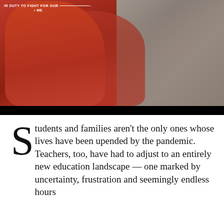[Figure (photo): Close-up photo of a person wearing a red/orange sweatshirt with text 'OUR DUTY TO FIGHT FOR OUR ___' and '• ME' visible. The right portion shows a gray concrete or pavement background. A black bar runs across the bottom of the image.]
Students and families aren't the only ones whose lives have been upended by the pandemic. Teachers, too, have had to adjust to an entirely new education landscape — one marked by uncertainty, frustration and seemingly endless hours